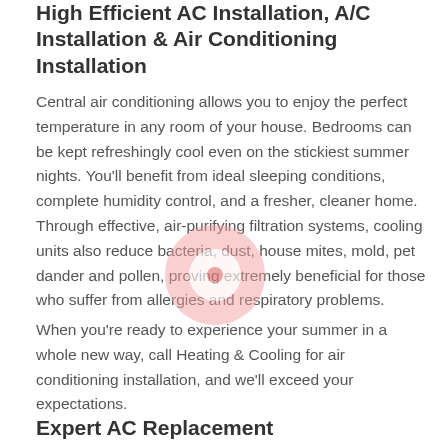High Efficient AC Installation, A/C Installation & Air Conditioning Installation
Central air conditioning allows you to enjoy the perfect temperature in any room of your house. Bedrooms can be kept refreshingly cool even on the stickiest summer nights. You'll benefit from ideal sleeping conditions, complete humidity control, and a fresher, cleaner home. Through effective, air-purifying filtration systems, cooling units also reduce bacteria, dust, house mites, mold, pet dander and pollen, proving extremely beneficial for those who suffer from allergies and respiratory problems.
When you're ready to experience your summer in a whole new way, call Heating & Cooling for air conditioning installation, and we'll exceed your expectations.
Expert AC Replacement